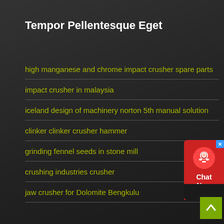Tempor Pellentesque Eget
high manganese and chrome impact crusher spare parts
impact crusher in malaysia
iceland design of machinery norton 5th manual solution
clinker clinker crusher hammer
grinding fennel seeds in stone mill
crushing industries crusher
jaw crusher for Dolomite Bengkulu
[Figure (other): Chat Now widget with red background and headset icon]
[Figure (other): Back to top button with olive/green background and upward arrow]